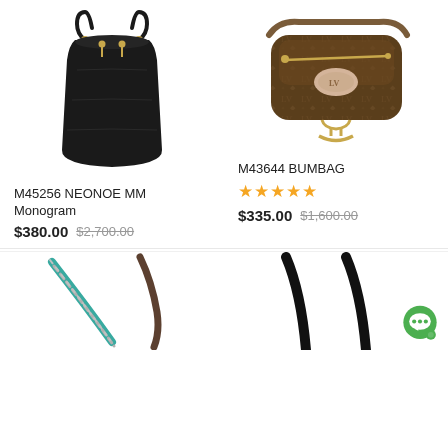[Figure (photo): Black Louis Vuitton NeoNoe MM bucket handbag with gold hardware]
M45256 NEONOE MM
Monogram
$380.00  $2,700.00
[Figure (photo): Louis Vuitton Bumbag in brown monogram canvas with beige leather accent]
M43644 BUMBAG
★★★★★
$335.00  $1,600.00
[Figure (photo): Partial view of a teal and silver chain strap accessory]
[Figure (photo): Partial view of a black leather shoulder strap]